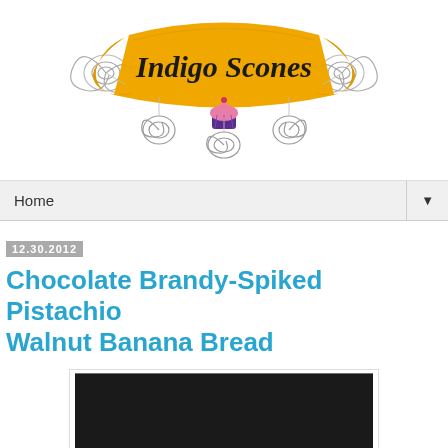[Figure (logo): Indigo Scones blog logo — a golden/yellow decorative ribbon banner with the text 'Indigo Scones' in script, decorated with swirling wire ornaments and a cupcake icon at the bottom center]
Home
12.30.2012
Chocolate Brandy-Spiked Pistachio Walnut Banana Bread
[Figure (photo): Close-up food photograph of banana bread on a dark background, showing the top and side of a loaf with a golden-brown crust]